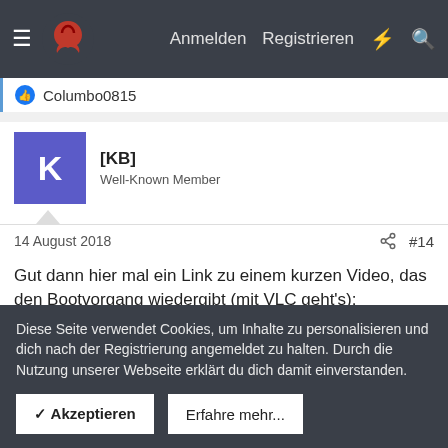Anmelden  Registrieren
Columbo0815
[KB]
Well-Known Member
14 August 2018  #14
Gut dann hier mal ein Link zu einem kurzen Video, das den Bootvorgang wiedergibt (mit VLC geht's):
http://kbrandt.sdf-eu.org/FreeBSD/dietfiles/11-2-boot-failed.m4v
Diese Seite verwendet Cookies, um Inhalte zu personalisieren und dich nach der Registrierung angemeldet zu halten. Durch die Nutzung unserer Webseite erklärt du dich damit einverstanden.